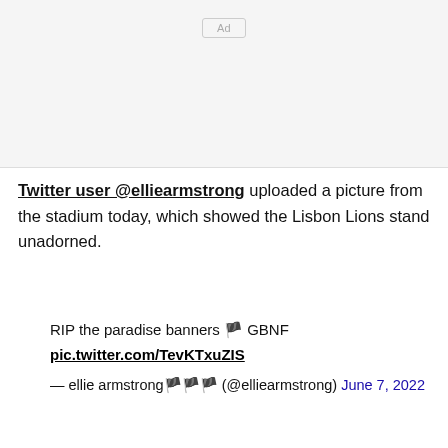[Figure (other): Ad placeholder box with 'Ad' label button]
Twitter user @elliearmstrong uploaded a picture from the stadium today, which showed the Lisbon Lions stand unadorned.
RIP the paradise banners 🏴 GBNF
pic.twitter.com/TevKTxuZIS
— ellie armstrong🏴🏴🏴 (@elliearmstrong) June 7, 2022